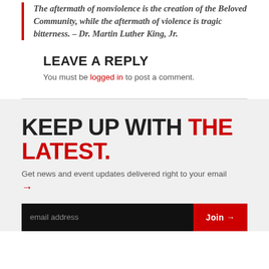The aftermath of nonviolence is the creation of the Beloved Community, while the aftermath of violence is tragic bitterness. – Dr. Martin Luther King, Jr.
LEAVE A REPLY
You must be logged in to post a comment.
KEEP UP WITH THE LATEST.
Get news and event updates delivered right to your email →
email address  Join →